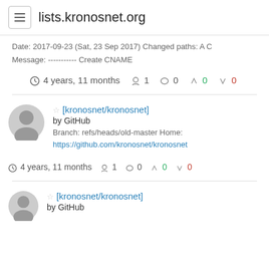lists.kronosnet.org
Date: 2017-09-23 (Sat, 23 Sep 2017) Changed paths: A C
Message: ----------- Create CNAME
4 years, 11 months  1  0  0  0
[kronosnet/kronosnet] by GitHub Branch: refs/heads/old-master Home: https://github.com/kronosnet/kronosnet
4 years, 11 months  1  0  0  0
[kronosnet/kronosnet] by GitHub